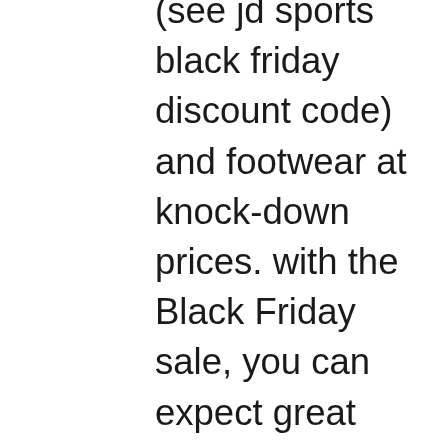(see jd sports black friday discount code) and footwear at knock-down prices. with the Black Friday sale, you can expect great bargains, you can expect updates about the Black Friday sale to include sports clothing, footwear and accessories. Where does JD ship from? All orders are shipped from the UK, orders placed on the JD UK website